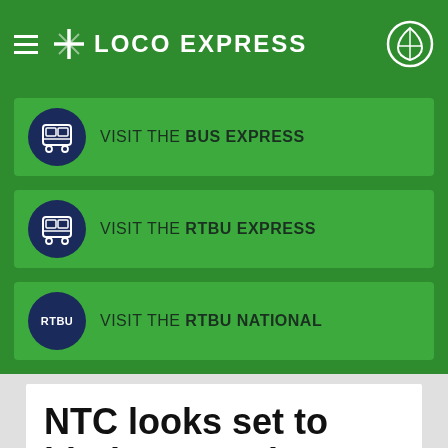LOCO EXPRESS
VISIT THE BUS EXPRESS
VISIT THE RTBU EXPRESS
VISIT THE RTBU NATIONAL
NTC looks set to hit the scrap heap